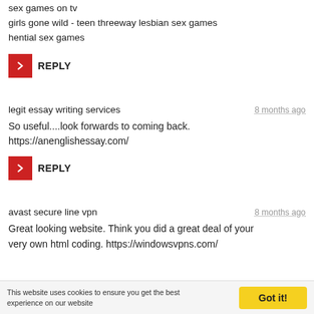sex games on tv
girls gone wild - teen threeway lesbian sex games
hential sex games
REPLY
legit essay writing services
8 months ago
So useful....look forwards to coming back.
https://anenglishessay.com/
REPLY
avast secure line vpn
8 months ago
Great looking website. Think you did a great deal of your very own html coding. https://windowsvpns.com/
This website uses cookies to ensure you get the best experience on our website
Got it!